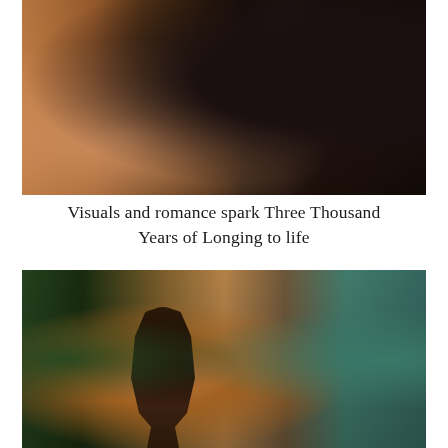[Figure (photo): Two people sitting together in warm, intimate lighting. One person wearing a tan/beige knit sweater, the other in dark clothing, photographed in a cozy indoor setting with warm amber tones.]
Visuals and romance spark Three Thousand Years of Longing to life
[Figure (photo): A man in a gray t-shirt standing and looking upward, pressing his hand against a weathered corrugated metal surface. The scene has warm golden lighting with green foliage and teal-colored concrete wall in the background.]